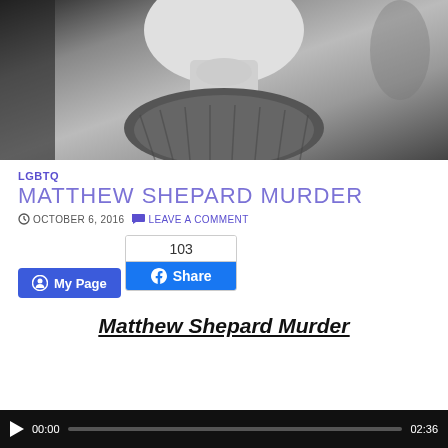[Figure (photo): Black and white photo of a young man, cropped to show lower face, chin, and sweater collar area.]
LGBTQ
MATTHEW SHEPARD MURDER
OCTOBER 6, 2016  LEAVE A COMMENT
[Figure (other): Blue button labeled 'My Page' with a circular icon]
[Figure (other): Facebook share widget showing count 103 and a Share button]
Matthew Shepard Murder
[Figure (other): Audio/video player bar showing 00:00 and 02:36]